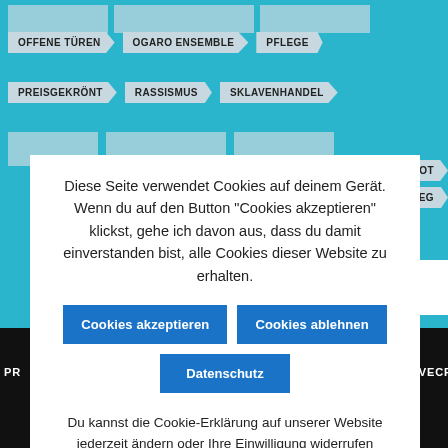[Figure (screenshot): Website background with teal/cyan color showing tag/keyword navigation pills in light gray with arrow shapes]
OFFENE TÜREN
OGARO ENSEMBLE
PFLEGE
PREISGEKRÖNT
RASSISMUS
SKLAVENHANDEL
ARAUFGEBOT
WELTKRIEG
Diese Seite verwendet Cookies auf deinem Gerät. Wenn du auf den Button "Cookies akzeptieren" klickst, gehe ich davon aus, dass du damit einverstanden bist, alle Cookies dieser Website zu erhalten.
Cookies akzeptieren
Cookies ablehnen
Datenschutz
Du kannst die Cookie-Erklärung auf unserer Website jederzeit ändern oder Ihre Einwilligung widerrufen
E: LOVECRAFT VON